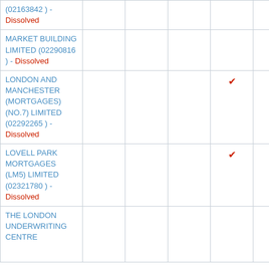| Company |  |  |  |  |  |  |
| --- | --- | --- | --- | --- | --- | --- |
| (02163842 ) - Dissolved |  |  |  |  |  |  |
| MARKET BUILDING LIMITED (02290816 ) - Dissolved |  |  |  |  | ✔ |  |
| LONDON AND MANCHESTER (MORTGAGES) (NO.7) LIMITED (02292265 ) - Dissolved |  |  |  | ✔ |  |  |
| LOVELL PARK MORTGAGES (LM5) LIMITED (02321780 ) - Dissolved |  |  |  | ✔ |  |  |
| THE LONDON UNDERWRITING CENTRE |  |  |  |  |  | ✔ |